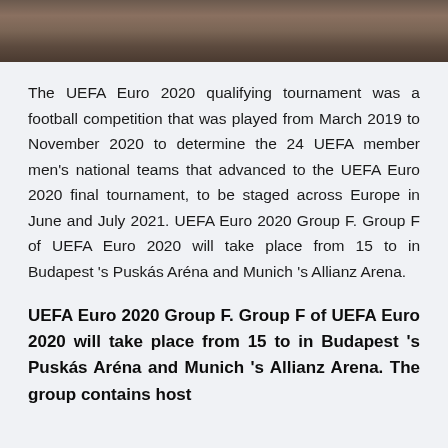[Figure (photo): Partial image of a rocky or earthy textured surface, shown at the top of the page as a cropped strip.]
The UEFA Euro 2020 qualifying tournament was a football competition that was played from March 2019 to November 2020 to determine the 24 UEFA member men's national teams that advanced to the UEFA Euro 2020 final tournament, to be staged across Europe in June and July 2021. UEFA Euro 2020 Group F. Group F of UEFA Euro 2020 will take place from 15 to in Budapest 's Puskás Aréna and Munich 's Allianz Arena.
UEFA Euro 2020 Group F. Group F of UEFA Euro 2020 will take place from 15 to in Budapest 's Puskás Aréna and Munich 's Allianz Arena. The group contains host